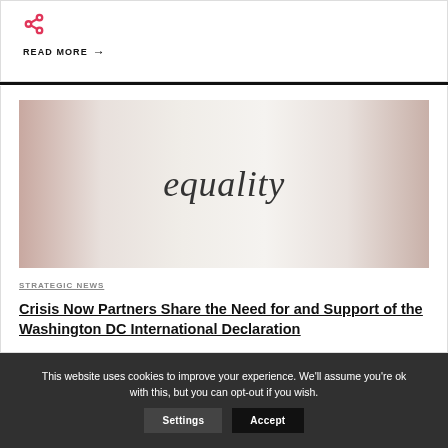READ MORE →
[Figure (photo): Photo of a torn paper piece with the handwritten word 'equality' in italic script, set against a blurred background.]
STRATEGIC NEWS
Crisis Now Partners Share the Need for and Support of the Washington DC International Declaration
This website uses cookies to improve your experience. We'll assume you're ok with this, but you can opt-out if you wish.